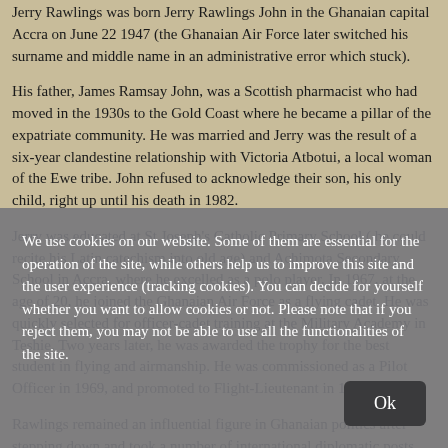Jerry Rawlings was born Jerry Rawlings John in the Ghanaian capital Accra on June 22 1947 (the Ghanaian Air Force later switched his surname and middle name in an administrative error which stuck).
His father, James Ramsay John, was a Scottish pharmacist who had moved in the 1930s to the Gold Coast where he became a pillar of the expatriate community. He was married and Jerry was the result of a six-year clandestine relationship with Victoria Atbotui, a local woman of the Ewe tribe. John refused to acknowledge their son, his only child, right up until his death in 1982.
Jerry was educated at St Joseph's Catholic Primary School ( he could recite his Latin catechism into old age) and Achimota Secondary School in Accra, where he excelled as a polo player. In 1967, at the age of 20, he joined the Ghanaian Air Force as a flying cadet. He was quickly selected for officer-cadet training at the Military Academy in Teshie. Two years later, he was awarded the trophy for the best student in flying and airmanship. He was commissioned as a Pilot Officer in 1969, and promoted to Flight-Lieutenant in 1978.
Rawlings remained an influential figure in Ghanaian politics after stepping down and took a number of international diplomatic posts, including on the
We use cookies on our website. Some of them are essential for the operation of the site, while others help us to improve this site and the user experience (tracking cookies). You can decide for yourself whether you want to allow cookies or not. Please note that if you reject them, you may not be able to use all the functionalities of the site.